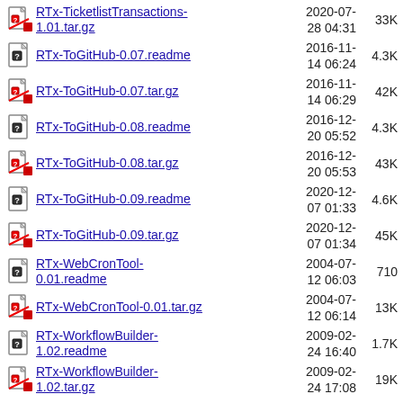RTx-TicketlistTransactions-1.01.tar.gz  2020-07-28 04:31  33K
RTx-ToGitHub-0.07.readme  2016-11-14 06:24  4.3K
RTx-ToGitHub-0.07.tar.gz  2016-11-14 06:29  42K
RTx-ToGitHub-0.08.readme  2016-12-20 05:52  4.3K
RTx-ToGitHub-0.08.tar.gz  2016-12-20 05:53  43K
RTx-ToGitHub-0.09.readme  2020-12-07 01:33  4.6K
RTx-ToGitHub-0.09.tar.gz  2020-12-07 01:34  45K
RTx-WebCronTool-0.01.readme  2004-07-12 06:03  710
RTx-WebCronTool-0.01.tar.gz  2004-07-12 06:14  13K
RTx-WorkflowBuilder-1.02.readme  2009-02-24 16:40  1.7K
RTx-WorkflowBuilder-1.02.tar.gz  2009-02-24 17:08  19K
2021-11-...